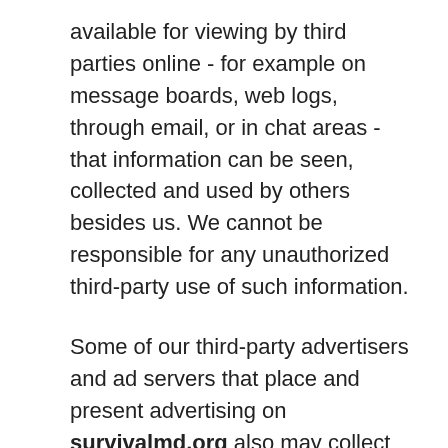available for viewing by third parties online - for example on message boards, web logs, through email, or in chat areas - that information can be seen, collected and used by others besides us. We cannot be responsible for any unauthorized third-party use of such information.
Some of our third-party advertisers and ad servers that place and present advertising on survivalmd.org also may collect information from you via cookies, web beacons or similar technologies. These third-party advertisers and ad servers may use the information they collect to help